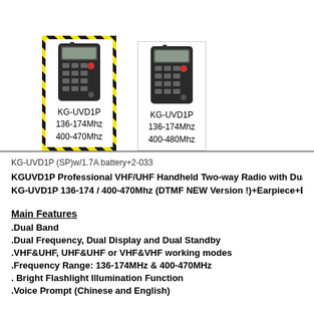[Figure (photo): Two KG-UVD1P handheld radios shown side by side. The left one has a yellow-black hazard stripe border. Left radio labeled KG-UVD1P 136-174Mhz 400-470Mhz. Right radio labeled KG-UVD1P 136-174Mhz 400-480Mhz.]
KG-UVD1P (SP)w/1.7A battery+2-033
KGUVD1P Professional VHF/UHF Handheld Two-way Radio with Dualband
KG-UVD1P 136-174 / 400-470Mhz (DTMF NEW Version !)+Earpiece+Batter
Main Features
.Dual Band
.Dual Frequency, Dual Display and Dual Standby
.VHF&UHF, UHF&UHF or VHF&VHF working modes
.Frequency Range: 136-174MHz & 400-470MHz
. Bright Flashlight Illumination Function
.Voice Prompt (Chinese and English)